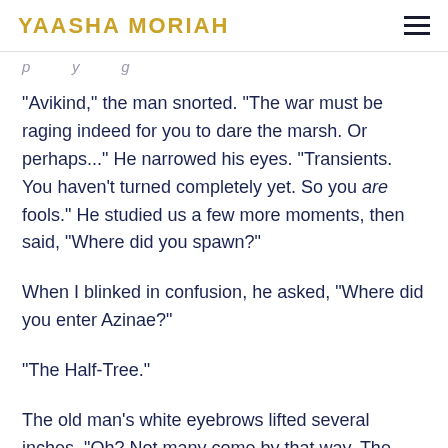YAASHA MORIAH
...p...y...g...
"Avikind," the man snorted. "The war must be raging indeed for you to dare the marsh. Or perhaps..." He narrowed his eyes. "Transients. You haven't turned completely yet. So you are fools." He studied us a few more moments, then said, "Where did you spawn?"
When I blinked in confusion, he asked, "Where did you enter Azinae?"
"The Half-Tree."
The old man's white eyebrows lifted several inches. "Oh? Not many come by that way. The Tree is selective